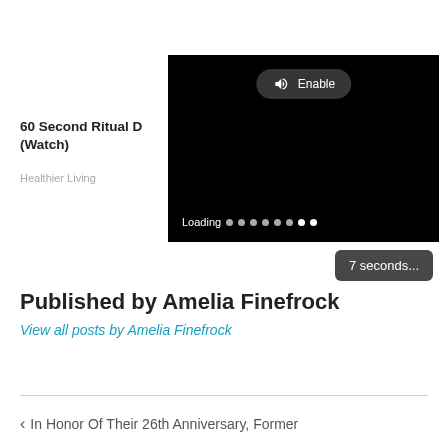[Figure (screenshot): Video player showing a black screen with a rounded 'Enable' audio button at the top center (speaker icon + text), a 'Loading' text with dot progress indicator at the bottom left, and a '7 seconds...' countdown badge below the video player on the right.]
60 Second Ritual D... (Watch)
Healthier Living
Published by Amelia Finefrock
View all posts by Amelia Finefrock
< In Honor Of Their 26th Anniversary, Former